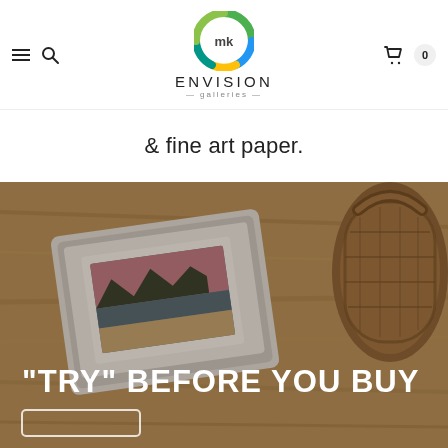Envision Galleries — navigation header with logo, hamburger menu, search, and cart (0 items)
& fine art paper.
[Figure (photo): A lifestyle photo showing a tablet displaying a framed landscape photo of mountains at sunset, placed on a wooden surface next to a wicker basket. Overlaid with the text '"TRY" BEFORE YOU BUY' in large white bold letters, and a button outline at the bottom.]